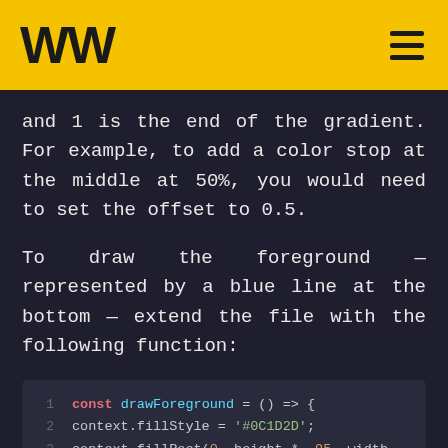WW
and 1 is the end of the gradient. For example, to add a color stop at the middle at 50%, you would need to set the offset to 0.5.
To draw the foreground — represented by a blue line at the bottom — extend the file with the following function:
[Figure (screenshot): Code block showing JavaScript: line 1: const drawForeground = () => {, line 2: context.fillStyle = '#0C1D2D';, line 3: context.fillRect(0, height * .95, width, height);, line 4: No compatible source was found for this, line 5: (partial) context.fillStyle = '#C03...']